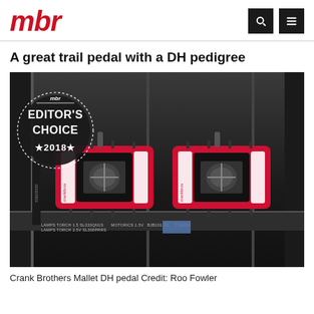mbr
A great trail pedal with a DH pedigree
[Figure (photo): Two red and black Crank Brothers Mallet DH pedals on a dark industrial shelf, with an MBR Editor's Choice 2018 badge overlay in the top-left corner]
Crank Brothers Mallet DH pedal Credit: Roo Fowler